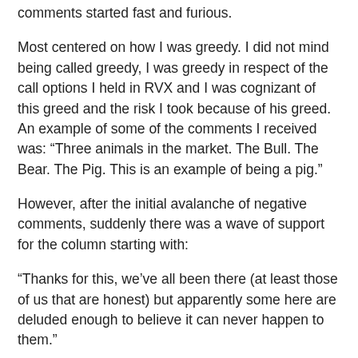comments started fast and furious.
Most centered on how I was greedy. I did not mind being called greedy, I was greedy in respect of the call options I held in RVX and I was cognizant of this greed and the risk I took because of his greed. An example of some of the comments I received was: “Three animals in the market. The Bull. The Bear. The Pig. This is an example of being a pig.”
However, after the initial avalanche of negative comments, suddenly there was a wave of support for the column starting with:
“Thanks for this, we’ve all been there (at least those of us that are honest) but apparently some here are deluded enough to believe it can never happen to them.”
“Hey, it takes a lot of guts to come on a national website and admit to one’s bone-headed investment moves... Great investors like Peter Lynch aren’t born... They learned through trial and error.”
The comment reflects the concerns of what the competitive...